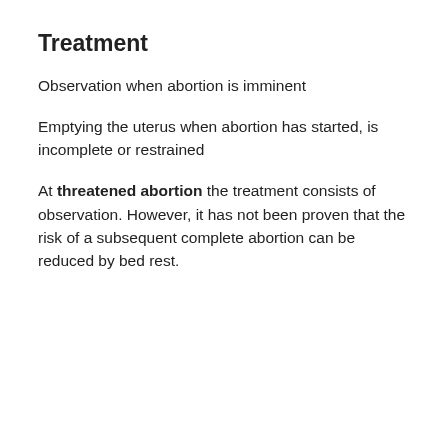Treatment
Observation when abortion is imminent
Emptying the uterus when abortion has started, is incomplete or restrained
At threatened abortion the treatment consists of observation. However, it has not been proven that the risk of a subsequent complete abortion can be reduced by bed rest.